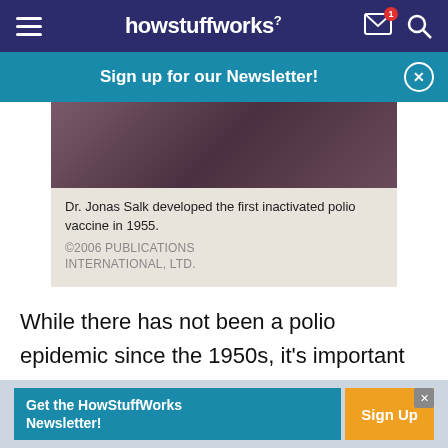howstuffworks
Sign up for our Newsletter!
[Figure (photo): Dark-toned close-up photo (partial), partially obscured, purple/brown tones]
Dr. Jonas Salk developed the first inactivated polio vaccine in 1955. ©2006 PUBLICATIONS INTERNATIONAL, LTD.
While there has not been a polio epidemic since the 1950s, it's important to have all the facts about polio and be sure to get your children immunized.
Get the HowStuffWorks Newsletter! Sign Up